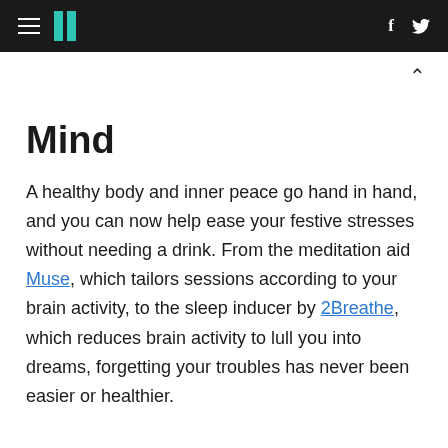HuffPost — navigation bar with hamburger menu, logo, facebook and twitter icons
Mind
A healthy body and inner peace go hand in hand, and you can now help ease your festive stresses without needing a drink. From the meditation aid Muse, which tailors sessions according to your brain activity, to the sleep inducer by 2Breathe, which reduces brain activity to lull you into dreams, forgetting your troubles has never been easier or healthier.